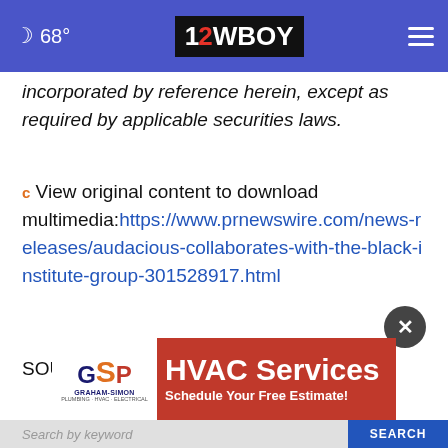68° | 12WBOY
incorporated by reference herein, except as required by applicable securities laws.
View original content to download multimedia: https://www.prnewswire.com/news-releases/audacious-collaborates-with-the-black-institute-group-301528917.html
SOURCE Australis Capital Inc.
[Figure (advertisement): Graham-Simon HVAC Services advertisement banner with red background, company logo, and text 'HVAC Services - Schedule Your Free Estimate!']